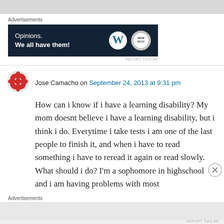[Figure (screenshot): Gray top bar area]
Advertisements
[Figure (infographic): Dark navy advertisement banner reading 'Opinions. We all have them!' with WordPress W logo and circular BBW logo]
REPORT THIS AD
Jose Camacho on September 24, 2013 at 9:31 pm
How can i know if i have a learning disability? My mom doesnt believe i have a learning disability, but i think i do. Everytime i take tests i am one of the last people to finish it, and when i have to read something i have to reread it again or read slowly. What should i do? I'm a sophomore in highschool and i am having problems with most
Advertisements
REPORT THIS AD